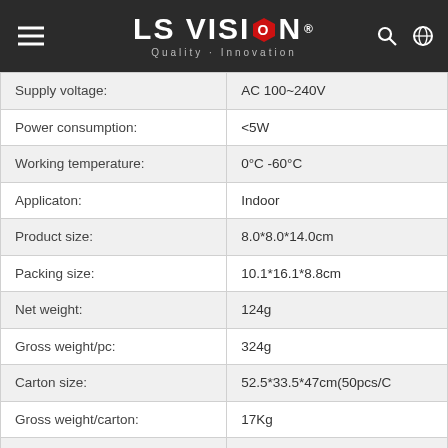LS VISION Quality · Innovation
| Property | Value |
| --- | --- |
| Supply voltage: | AC 100~240V |
| Power consumption: | <5W |
| Working temperature: | 0°C -60°C |
| Applicaton: | Indoor |
| Product size: | 8.0*8.0*14.0cm |
| Packing size: | 10.1*16.1*8.8cm |
| Net weight: | 124g |
| Gross weight/pc: | 324g |
| Carton size: | 52.5*33.5*47cm(50pcs/C |
| Gross weight/carton: | 17Kg |
| Packaging and accessories: | 1 Color box
2 Inner support |